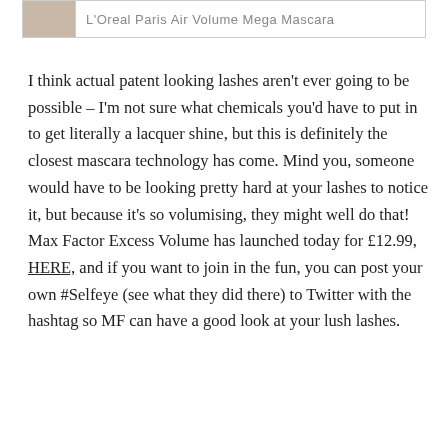[Figure (other): Top portion of a product listing box showing a small thumbnail image and partial text reading 'L'Oreal Paris Air Volume Mega Mascara']
I think actual patent looking lashes aren't ever going to be possible – I'm not sure what chemicals you'd have to put in to get literally a lacquer shine, but this is definitely the closest mascara technology has come. Mind you, someone would have to be looking pretty hard at your lashes to notice it, but because it's so volumising, they might well do that! Max Factor Excess Volume has launched today for £12.99, HERE, and if you want to join in the fun, you can post your own #Selfeye (see what they did there) to Twitter with the hashtag so MF can have a good look at your lush lashes.